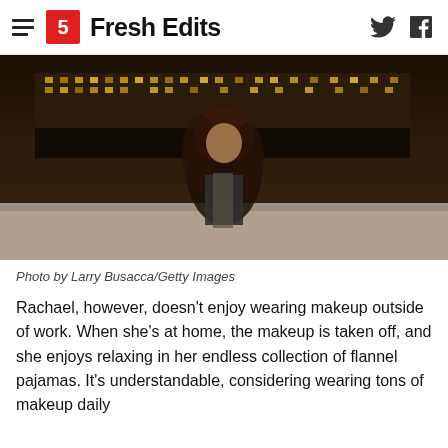Fresh Edits
[Figure (photo): Woman with long brown hair smiling, wearing black jacket and scarf, standing outdoors at night with illuminated building in background. Photo by Larry Busacca/Getty Images.]
Photo by Larry Busacca/Getty Images
Rachael, however, doesn't enjoy wearing makeup outside of work. When she's at home, the makeup is taken off, and she enjoys relaxing in her endless collection of flannel pajamas. It's understandable, considering wearing tons of makeup daily